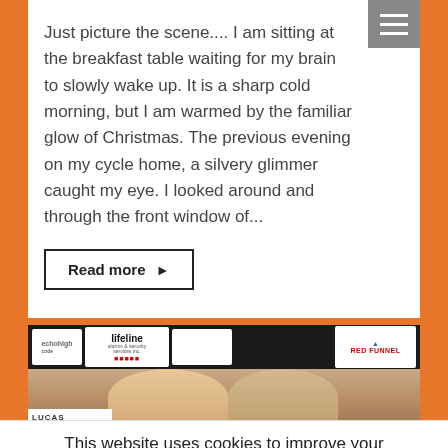Just picture the scene.... I am sitting at the breakfast table waiting for my brain to slowly wake up. It is a sharp cold morning, but I am warmed by the familiar glow of Christmas. The previous evening on my cycle home, a silvery glimmer caught my eye. I looked around and through the front window of...
Read more ▶
[Figure (photo): Two people facing camera with sponsor banners behind them including Lifeline and Red Funnel logos]
This website uses cookies to improve your experience. We'll assume you're ok with this, but you can opt-out if you wish
Read More. Cookie settings ACCEPT